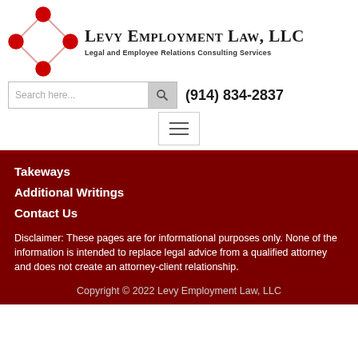[Figure (logo): Levy Employment Law LLC logo: diamond shape with red nodes connected by pink lines]
Levy Employment Law, LLC
Legal and Employee Relations Consulting Services
Search here...
(914) 834-2837
Takeways
Additional Writings
Contact Us
Disclaimer: These pages are for informational purposes only. None of the information is intended to replace legal advice from a qualified attorney and does not create an attorney-client relationship.
Copyright © 2022 Levy Employment Law, LLC